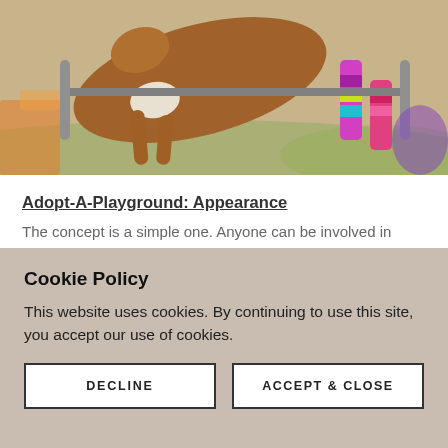[Figure (photo): A dog jumping over an obstacle, wearing colorful striped leg wraps in pink, purple, yellow, and teal colors. The background shows playground or agility equipment.]
Adopt-A-Playground: Appearance
The concept is a simple one. Anyone can be involved in cleaning up a playground. It's an awesome way to be a part of your community and getting directly involved in beautifying a playground for all to continuously enjoy. Individual volunteers, neighborhood groups and local businesses donate hundreds of hours each year for
Cookie Policy
This website uses cookies. By continuing to use this site, you accept our use of cookies.
DECLINE
ACCEPT & CLOSE